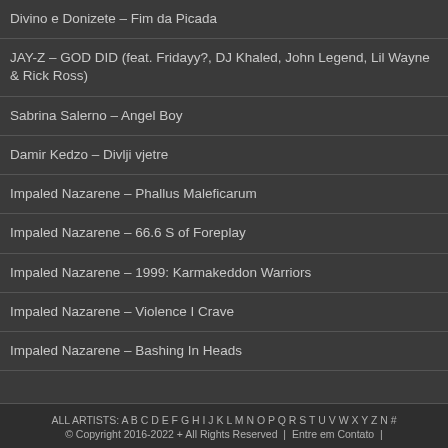Divino e Donizete – Fim da Picada
JAY-Z – GOD DID (feat. Fridayy?, DJ Khaled, John Legend, Lil Wayne & Rick Ross)
Sabrina Salerno – Angel Boy
Damir Kedzo – Divlji vjetre
Impaled Nazarene – Phallus Maleficarum
Impaled Nazarene – 66.6 S of Foreplay
Impaled Nazarene – 1999: Karmakeddon Warriors
Impaled Nazarene – Violence I Crave
Impaled Nazarene – Bashing In Heads
ALL ARTISTS: A B C D E F G H I J K L M N O P Q R S T U V W X Y Z N #
© Copyright 2016-2022 + All Rights Reserved  |  Entre em Contato  |